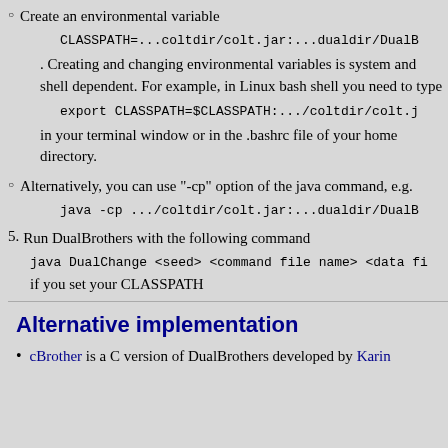Create an environmental variable
CLASSPATH=...coltdir/colt.jar:...dualdir/DualB
. Creating and changing environmental variables is system and shell dependent. For example, in Linux bash shell you need to type
export CLASSPATH=$CLASSPATH:.../coltdir/colt.j
in your terminal window or in the .bashrc file of your home directory.
Alternatively, you can use "-cp" option of the java command, e.g.
java -cp .../coltdir/colt.jar:...dualdir/DualB
5. Run DualBrothers with the following command
java DualChange <seed> <command file name> <data fi
if you set your CLASSPATH
Alternative implementation
cBrother is a C version of DualBrothers developed by Karin